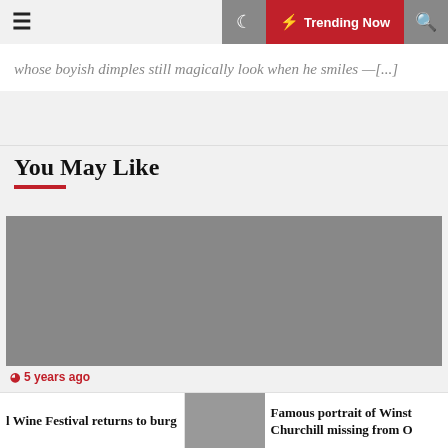Trending Now
whose boyish dimples still magically look when he smiles —[...]
You May Like
[Figure (photo): Gray placeholder image for article card]
5 years ago
l Wine Festival returns to burg
[Figure (photo): Small thumbnail showing people in a church or hall]
Famous portrait of Winst Churchill missing from O